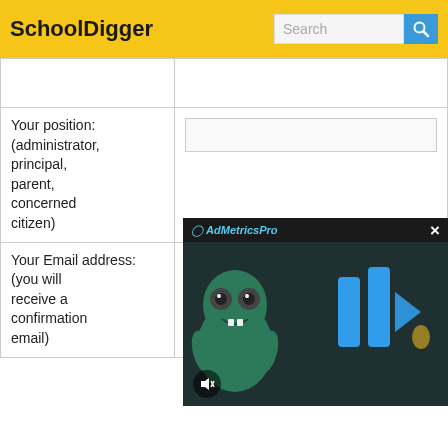SchoolDigger
| Field | Input |
| --- | --- |
|  |  |
| Your position: (administrator, principal, parent, concerned citizen) |  |
| Your Email address: (you will receive a confirmation email) |  |
[Figure (screenshot): AdMetricsPro video advertisement overlay showing a cartoon monster character with blue geometric shapes, a mute button, and a close (X) button]